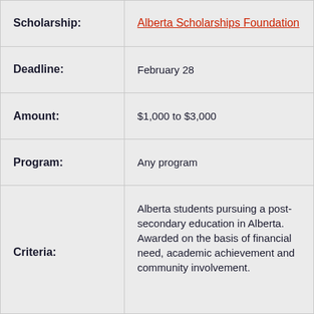| Field | Value |
| --- | --- |
| Scholarship: | Alberta Scholarships Foundation |
| Deadline: | February 28 |
| Amount: | $1,000 to $3,000 |
| Program: | Any program |
| Criteria: | Alberta students pursuing a post-secondary education in Alberta. Awarded on the basis of financial need, academic achievement and community involvement. |